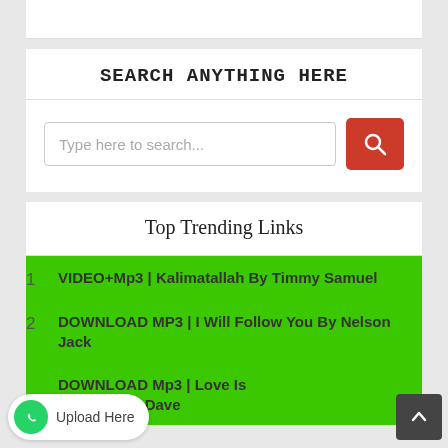SEARCH ANYTHING HERE
Type here to search...
Top Trending Links
1 VIDEO+Mp3 | Kalimatallah By Timmy Samuel
2 DOWNLOAD MP3 | I Will Follow You By Nelson Jack
3 DOWNLOAD Mp3 | Love Is ...ctical Ft. Ibi Dave
Upload Here